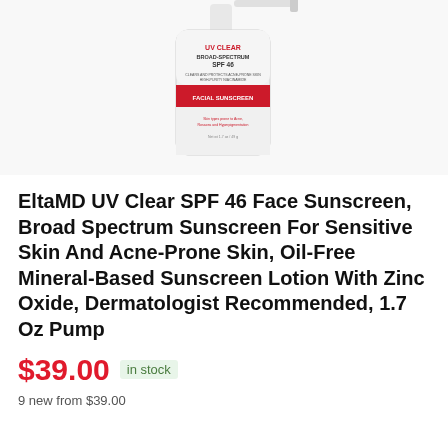[Figure (photo): EltaMD UV Clear SPF 46 facial sunscreen bottle/pump dispenser, white cylindrical container with red accented label showing UV CLEAR BROAD-SPECTRUM SPF 46 text]
EltaMD UV Clear SPF 46 Face Sunscreen, Broad Spectrum Sunscreen For Sensitive Skin And Acne-Prone Skin, Oil-Free Mineral-Based Sunscreen Lotion With Zinc Oxide, Dermatologist Recommended, 1.7 Oz Pump
$39.00  in stock
9 new from $39.00